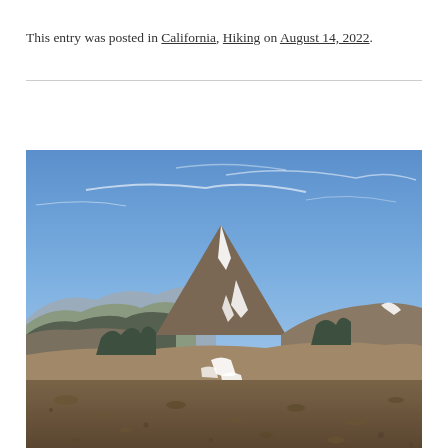This entry was posted in California, Hiking on August 14, 2022.
[Figure (photo): Mountain landscape photograph showing a prominent conical peak with patches of snow on its slopes, surrounded by rolling brown hills with scattered dark green trees, rocky foreground terrain, and a blue sky with wispy clouds above.]